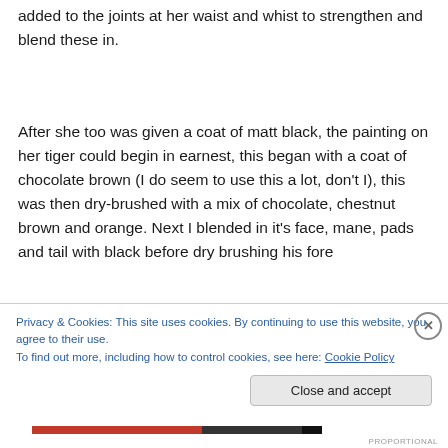added to the joints at her waist and whist to strengthen and blend these in.
After she too was given a coat of matt black, the painting on her tiger could begin in earnest, this began with a coat of chocolate brown (I do seem to use this a lot, don't I), this was then dry-brushed with a mix of chocolate, chestnut brown and orange. Next I blended in it's face, mane, pads and tail with black before dry brushing his fore
Privacy & Cookies: This site uses cookies. By continuing to use this website, you agree to their use.
To find out more, including how to control cookies, see here: Cookie Policy
Close and accept